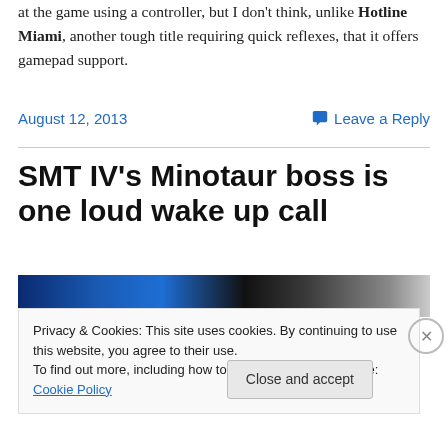at the game using a controller, but I don't think, unlike Hotline Miami, another tough title requiring quick reflexes, that it offers gamepad support.
August 12, 2013
Leave a Reply
SMT IV's Minotaur boss is one loud wake up call
[Figure (photo): Partial image of a character or scene from SMT IV (dark blue tones), cropped at top of frame]
Privacy & Cookies: This site uses cookies. By continuing to use this website, you agree to their use.
To find out more, including how to control cookies, see here: Cookie Policy
Close and accept